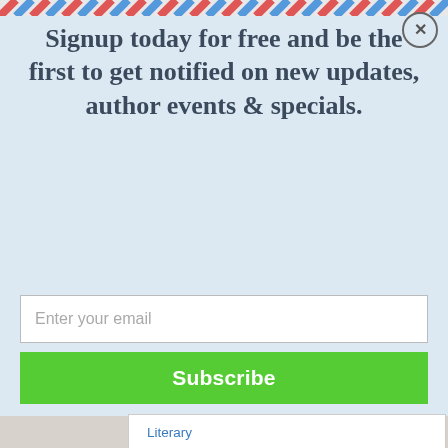Signup today for free and be the first to get notified on new updates, author events & specials.
Enter your email
Subscribe
Literary
Historical - General
Cultural Heritage
Related Editions (all)
Kobo eBook (October 2nd, 2018): $12.99
Paperback (December 30th, 2019): $16.99